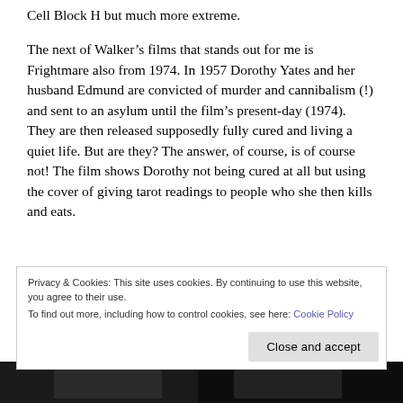Cell Block H but much more extreme.
The next of Walker’s films that stands out for me is Frightmare also from 1974. In 1957 Dorothy Yates and her husband Edmund are convicted of murder and cannibalism (!) and sent to an asylum until the film’s present-day (1974). They are then released supposedly fully cured and living a quiet life. But are they? The answer, of course, is of course not! The film shows Dorothy not being cured at all but using the cover of giving tarot readings to people who she then kills and eats.
Privacy & Cookies: This site uses cookies. By continuing to use this website, you agree to their use.
To find out more, including how to control cookies, see here: Cookie Policy
Close and accept
[Figure (photo): Dark strip showing partial view of what appears to be two people, bottom of the page image]